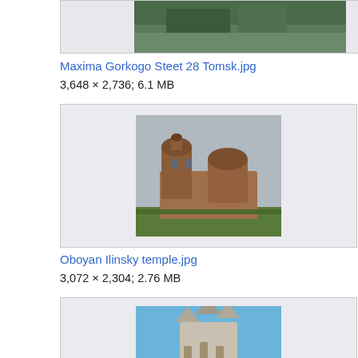[Figure (photo): Top of page: partial image box showing cropped photo at top]
Maxima Gorkogo Steet 28 Tomsk.jpg
3,648 × 2,736; 6.1 MB
[Figure (photo): Photo of a ruined brick church with two towers and a dome, set in a green field with overcast sky]
Oboyan Ilinsky temple.jpg
3,072 × 2,304; 2.76 MB
[Figure (photo): Partial photo of ornate Gothic/Baroque stone architecture with spires against blue sky]